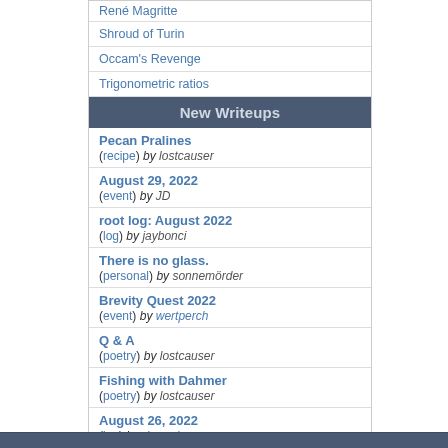René Magritte
Shroud of Turin
Occam's Revenge
Trigonometric ratios
New Writeups
Pecan Pralines (recipe) by lostcauser
August 29, 2022 (event) by JD
root log: August 2022 (log) by jaybonci
There is no glass. (personal) by sonnemörder
Brevity Quest 2022 (event) by wertperch
Q & A (poetry) by lostcauser
Fishing with Dahmer (poetry) by lostcauser
August 26, 2022 (log) by dmandave
tilt (review) by JD
close (poetry) by lostcauser
(more)